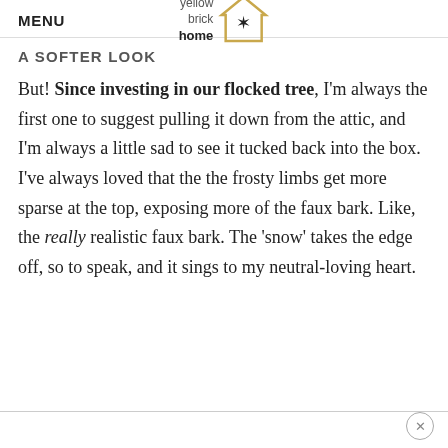MENU | yellow brick home [logo]
A SOFTER LOOK
But! Since investing in our flocked tree, I'm always the first one to suggest pulling it down from the attic, and I'm always a little sad to see it tucked back into the box. I've always loved that the the frosty limbs get more sparse at the top, exposing more of the faux bark. Like, the really realistic faux bark. The ‘snow’ takes the edge off, so to speak, and it sings to my neutral-loving heart.